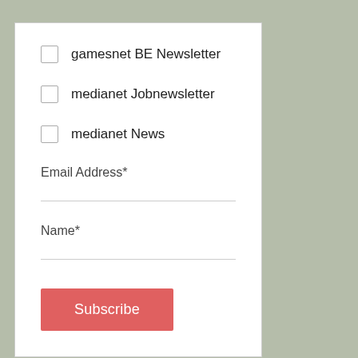gamesnet BE Newsletter
medianet Jobnewsletter
medianet News
Email Address*
Name*
Subscribe